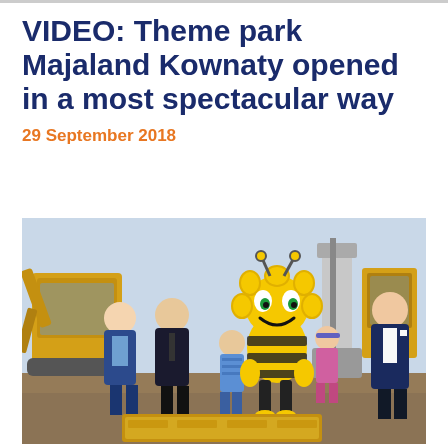VIDEO: Theme park Majaland Kownaty opened in a most spectacular way
29 September 2018
[Figure (photo): Group photo at a construction site: two men in dark suits on the left, a large Maya the Bee mascot costume in the center flanked by two children, and a man in a dark suit on the right. Yellow construction machinery visible in the background. A golden/yellow box or tray is in the foreground.]